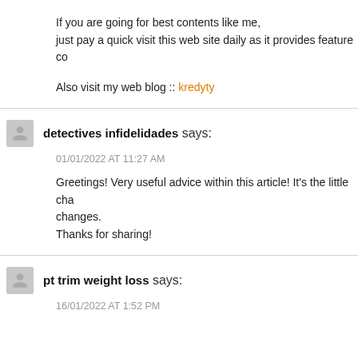If you are going for best contents like me, just pay a quick visit this web site daily as it provides feature co...
Also visit my web blog :: kredyty
detectives infidelidades says:
01/01/2022 AT 11:27 AM
Greetings! Very useful advice within this article! It's the little cha changes.
Thanks for sharing!
pt trim weight loss says:
16/01/2022 AT 1:52 PM